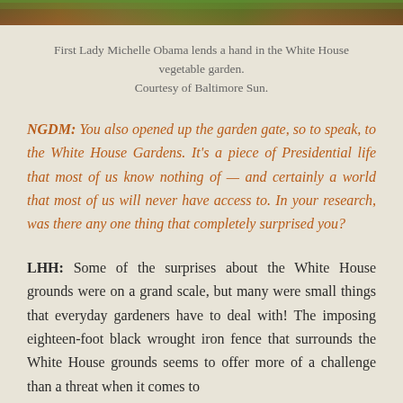[Figure (photo): Top strip of a photo showing Michelle Obama in the White House vegetable garden, showing soil and green plants]
First Lady Michelle Obama lends a hand in the White House vegetable garden.
Courtesy of Baltimore Sun.
NGDM:  You also opened up the garden gate, so to speak, to the White House Gardens.  It's a piece of Presidential life that most of us know nothing of — and certainly a world that most of us will never have access to.  In your research, was there any one thing that completely surprised you?
LHH:    Some of the surprises about the White House grounds were on a grand scale, but many were small things that everyday gardeners have to deal with!  The imposing eighteen-foot black wrought iron fence that surrounds the White House grounds seems to offer more of a challenge than a threat when it comes to